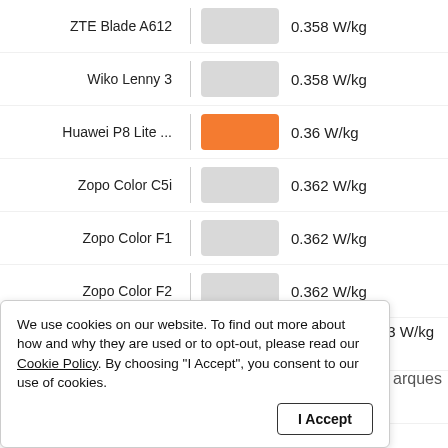[Figure (bar-chart): SAR values for smartphones]
We use cookies on our website. To find out more about how and why they are used or to opt-out, please read our Cookie Policy. By choosing "I Accept", you consent to our use of cookies.